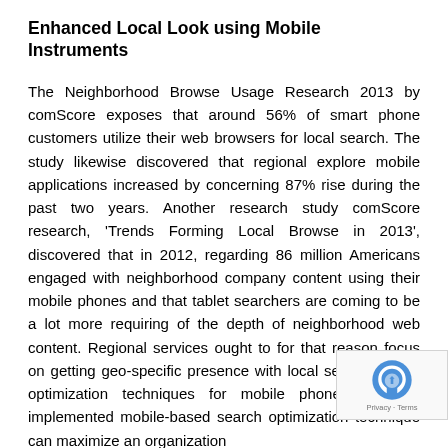Enhanced Local Look using Mobile Instruments
The Neighborhood Browse Usage Research 2013 by comScore exposes that around 56% of smart phone customers utilize their web browsers for local search. The study likewise discovered that regional explore mobile applications increased by concerning 87% rise during the past two years. Another research study comScore research, 'Trends Forming Local Browse in 2013', discovered that in 2012, regarding 86 million Americans engaged with neighborhood company content using their mobile phones and that tablet searchers are coming to be a lot more requiring of the depth of neighborhood web content. Regional services ought to for that reason focus on getting geo-specific presence with local search engine optimization techniques for mobile phones. A well-implemented mobile-based search optimization technique can maximize an organization's visibility and drive consumers to their websites.